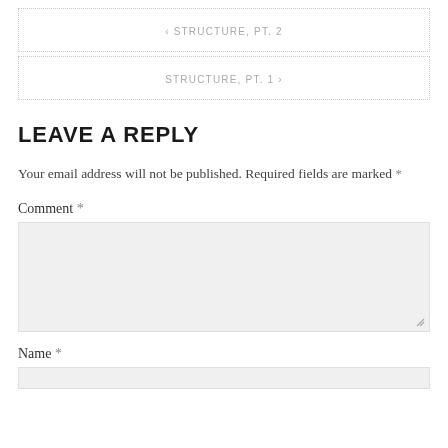< STRUCTURE, PT. 2
STRUCTURE, PT. 1 >
LEAVE A REPLY
Your email address will not be published. Required fields are marked *
Comment *
Name *